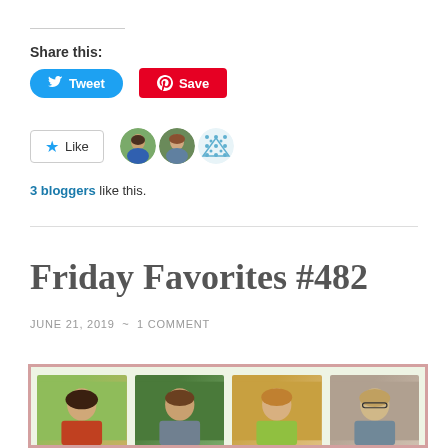Share this:
[Figure (screenshot): Tweet and Save share buttons]
[Figure (infographic): Like button with 3 blogger avatars]
3 bloggers like this.
Friday Favorites #482
JUNE 21, 2019 ~ 1 COMMENT
[Figure (photo): Four blogger profile photos in a green-bordered box]